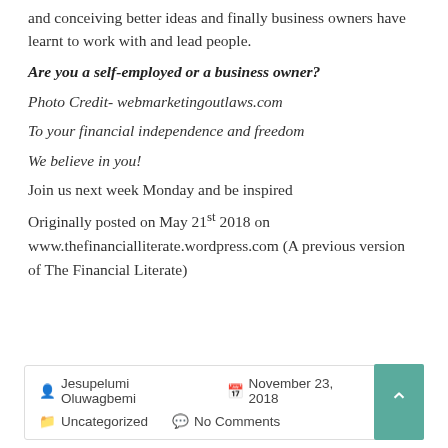and conceiving better ideas and finally business owners have learnt to work with and lead people.
Are you a self-employed or a business owner?
Photo Credit- webmarketingoutlaws.com
To your financial independence and freedom
We believe in you!
Join us next week Monday and be inspired
Originally posted on May 21st 2018 on www.thefinancialliterate.wordpress.com (A previous version of The Financial Literate)
Jesupelumi Oluwagbemi  November 23, 2018  Uncategorized  No Comments